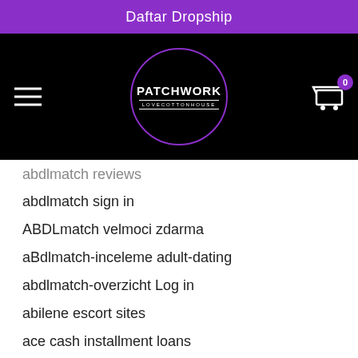Daftar Dropship
[Figure (logo): Patchwork Love Cotton House logo — circular purple border on black background with hamburger menu icon on left and shopping cart with badge '0' on right]
abdlmatch reviews
abdlmatch sign in
ABDLmatch velmoci zdarma
aBdlmatch-inceleme adult-dating
abdlmatch-overzicht Log in
abilene escort sites
ace cash installment loans
Actualizar Archivos Dll